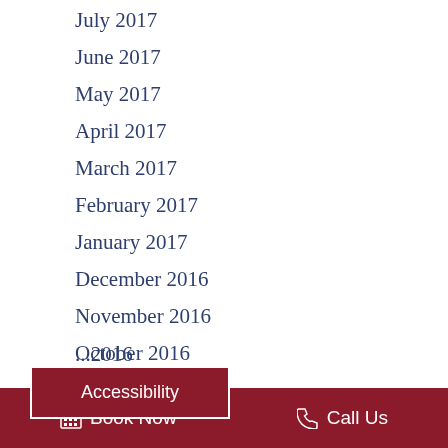July 2017
June 2017
May 2017
April 2017
March 2017
February 2017
January 2017
December 2016
November 2016
October 2016
...2016
Accessibility
Book Now   Call Us